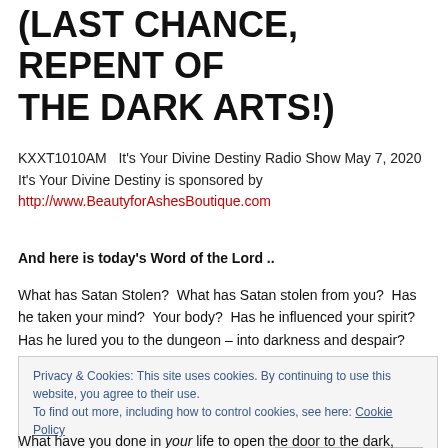(LAST CHANCE, REPENT OF THE DARK ARTS!)
KXXT1010AM   It's Your Divine Destiny Radio Show May 7, 2020 It's Your Divine Destiny is sponsored by http://www.BeautyforAshesBoutique.com
And here is today's Word of the Lord ..
What has Satan Stolen?  What has Satan stolen from you?  Has he taken your mind?  Your body?  Has he influenced your spirit?  Has he lured you to the dungeon – into darkness and despair?
Privacy & Cookies: This site uses cookies. By continuing to use this website, you agree to their use. To find out more, including how to control cookies, see here: Cookie Policy
Close and accept
What have you done in your life to open the door to the dark, sinister